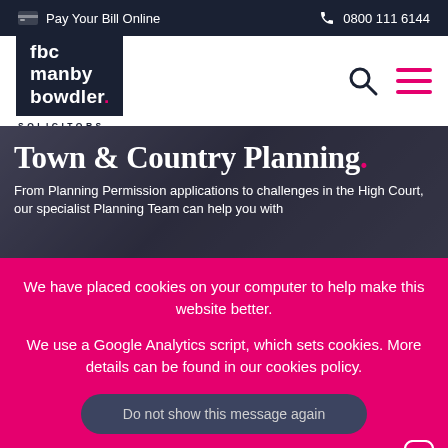Pay Your Bill Online | 0800 111 6144
[Figure (logo): fbc manby bowdler. SOLICITORS logo — dark navy background with white text and pink dot]
Town & Country Planning.
From Planning Permission applications to challenges in the High Court, our specialist Planning Team can help you with
We have placed cookies on your computer to help make this website better.
We use a Google Analytics script, which sets cookies. More details can be found in our cookies policy.
Do not show this message again
Chat now